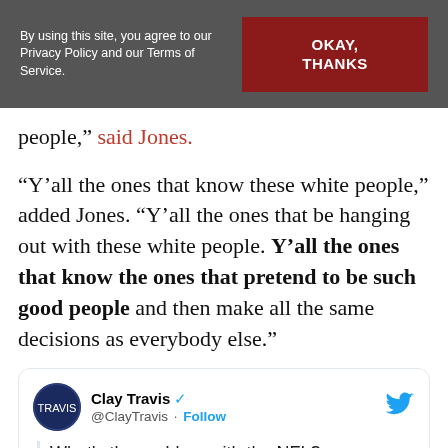By using this site, you agree to our Privacy Policy and our Terms of Service. | OKAY, THANKS
people,” said Jones.
“Y’all the ones that know these white people,” added Jones. “Y’all the ones that be hanging out with these white people. Y’all the ones that know the ones that pretend to be such good people and then make all the same decisions as everybody else.”
[Figure (screenshot): Embedded tweet from @ClayTravis with verified badge and Follow button. Tweet text: What’s the problem with the NFL?]